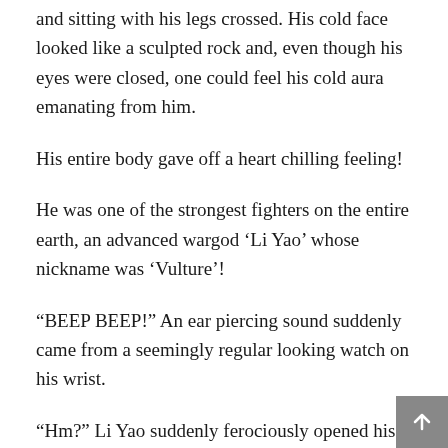and sitting with his legs crossed. His cold face looked like a sculpted rock and, even though his eyes were closed, one could feel his cold aura emanating from him.
His entire body gave off a heart chilling feeling!
He was one of the strongest fighters on the entire earth, an advanced wargod 'Li Yao' whose nickname was 'Vulture'!
“BEEP BEEP!” An ear piercing sound suddenly came from a seemingly regular looking watch on his wrist.
“Hm?” Li Yao suddenly ferociously opened his eyes, which flashed like lightning.
“Wei!” Li Yao’s sculpture-like cold face suddenly let out a face of surprisement and rage.